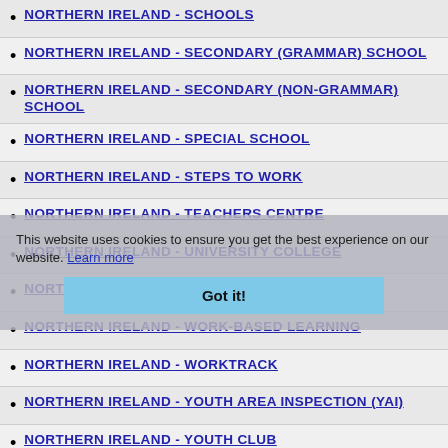NORTHERN IRELAND - SCHOOLS
NORTHERN IRELAND - SECONDARY (GRAMMAR) SCHOOL
NORTHERN IRELAND - SECONDARY (NON-GRAMMAR) SCHOOL
NORTHERN IRELAND - SPECIAL SCHOOL
NORTHERN IRELAND - STEPS TO WORK
NORTHERN IRELAND - TEACHERS CENTRE
NORTHERN IRELAND - UNIVERSITY COLLEGE
NORTHERN IRELAND - VP PRE-SCHOOLS
NORTHERN IRELAND - WORK-BASED LEARNING
NORTHERN IRELAND - WORKTRACK
NORTHERN IRELAND - YOUTH AREA INSPECTION (YAI)
NORTHERN IRELAND - YOUTH CLUB
SCOTLAND - ALL INSTITUTIONS